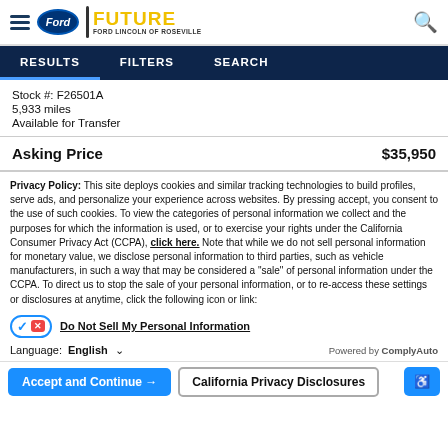Future Ford Lincoln of Roseville — hamburger menu, Ford oval logo, search icon
RESULTS   FILTERS   SEARCH
Stock #: F26501A
5,933 miles
Available for Transfer
Asking Price   $35,950
Privacy Policy: This site deploys cookies and similar tracking technologies to build profiles, serve ads, and personalize your experience across websites. By pressing accept, you consent to the use of such cookies. To view the categories of personal information we collect and the purposes for which the information is used, or to exercise your rights under the California Consumer Privacy Act (CCPA), click here. Note that while we do not sell personal information for monetary value, we disclose personal information to third parties, such as vehicle manufacturers, in such a way that may be considered a "sale" of personal information under the CCPA. To direct us to stop the sale of your personal information, or to re-access these settings or disclosures at anytime, click the following icon or link:
Do Not Sell My Personal Information
Language:  English   ∨   Powered by ComplyAuto
Accept and Continue →   California Privacy Disclosures